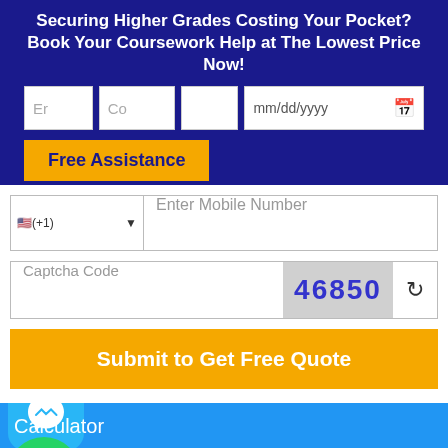Securing Higher Grades Costing Your Pocket? Book Your Coursework Help at The Lowest Price Now!
[Figure (screenshot): Web form with input fields for email, country, blank field, date picker, and a Free Assistance button on dark blue background]
[Figure (screenshot): Phone number input with country code selector (+1), captcha code field showing 46850, and Submit to Get Free Quote button]
[Figure (screenshot): Bottom section with Facebook Messenger icon, Calculator label, WhatsApp icon, Simple Calculator link, and Chat now bar]